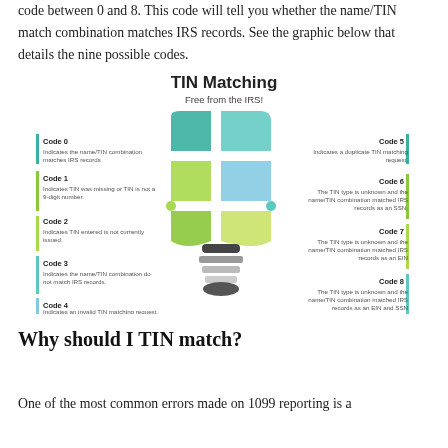code between 0 and 8. This code will tell you whether the name/TIN match combination matches IRS records. See the graphic below that details the nine possible codes.
[Figure (infographic): TIN Matching infographic showing a light bulb made of puzzle pieces. Left side lists Code 0 through Code 4 with descriptions. Right side lists Code 5 through Code 8 with descriptions. Title: TIN Matching, Free from the IRS!]
Why should I TIN match?
One of the most common errors made on 1099 reporting is a